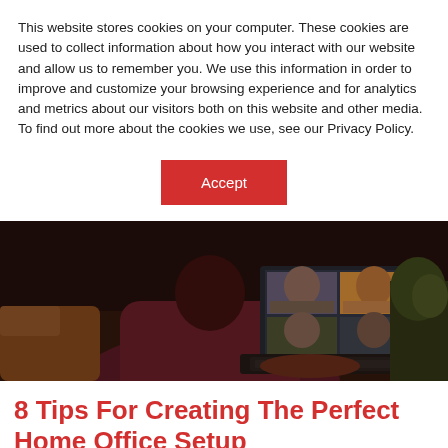This website stores cookies on your computer. These cookies are used to collect information about how you interact with our website and allow us to remember you. We use this information in order to improve and customize your browsing experience and for analytics and metrics about our visitors both on this website and other media. To find out more about the cookies we use, see our Privacy Policy.
Accept
[Figure (photo): A person in a dark burgundy sweater sitting at a desk typing on a laptop, with a video call showing multiple people on the laptop screen. The background is dark with warm wooden tones.]
8 Tips For Creating The Perfect Home Office Setup
SALES ENQUIRY   vane on Aug 21, 2020 11:47:54 AM